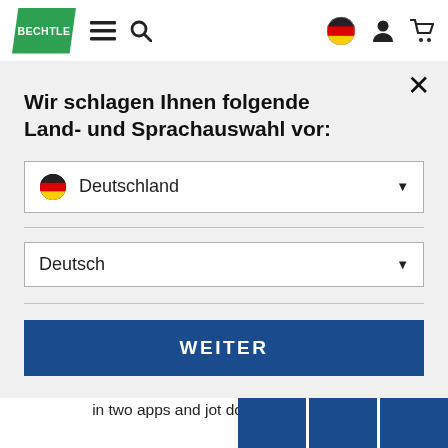[Figure (logo): Bechtle company logo - green parallelogram with white BECHTLE text]
Wir schlagen Ihnen folgende Land- und Sprachauswahl vor:
Deutschland (dropdown with German flag)
Deutsch (dropdown)
WEITER
the comprehensive view, you can compare and contrast content from different Microsoft 365 apps, work in parallel in two apps and jot down ideas natural